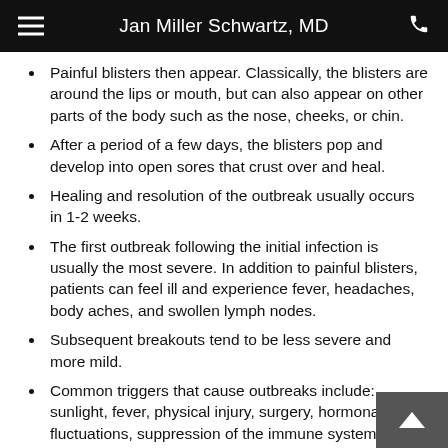Jan Miller Schwartz, MD
Painful blisters then appear. Classically, the blisters are around the lips or mouth, but can also appear on other parts of the body such as the nose, cheeks, or chin.
After a period of a few days, the blisters pop and develop into open sores that crust over and heal.
Healing and resolution of the outbreak usually occurs in 1-2 weeks.
The first outbreak following the initial infection is usually the most severe. In addition to painful blisters, patients can feel ill and experience fever, headaches, body aches, and swollen lymph nodes.
Subsequent breakouts tend to be less severe and more mild.
Common triggers that cause outbreaks include: sunlight, fever, physical injury, surgery, hormonal fluctuations, suppression of the immune system, or stress.